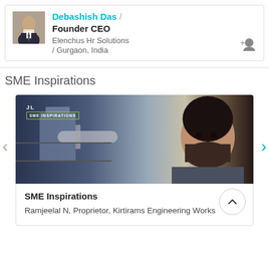[Figure (photo): Profile photo of Debashish Das, a man in a suit]
Debashish Das / Founder CEO
Elenchus Hr Solutions / Gurgaon, India
SME Inspirations
[Figure (photo): Industrial photo showing a man in a factory/warehouse with machinery, with 'SME INSPIRATIONS' badge overlay]
SME Inspirations
Ramjeelal N, Proprietor, Kirtirams Engineering Works